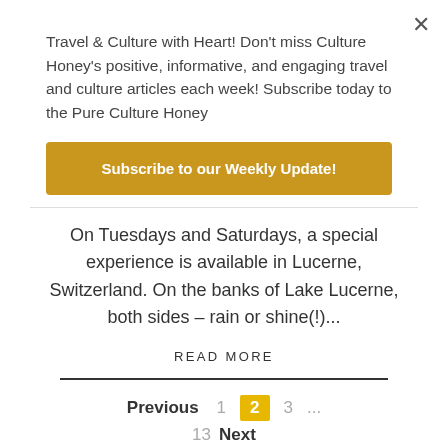Travel & Culture with Heart! Don't miss Culture Honey's positive, informative, and engaging travel and culture articles each week! Subscribe today to the Pure Culture Honey
Subscribe to our Weekly Update!
On Tuesdays and Saturdays, a special experience is available in Lucerne, Switzerland. On the banks of Lake Lucerne, both sides – rain or shine(!)...
READ MORE
Previous 1 2 3 … 13 Next